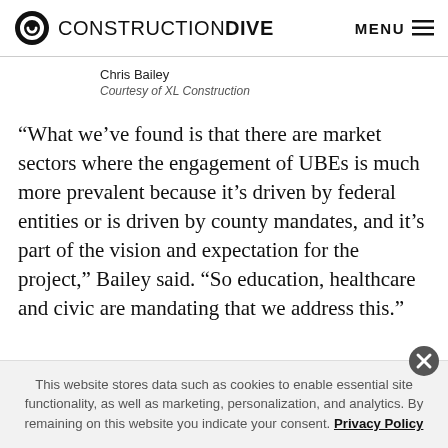CONSTRUCTION DIVE  MENU
Chris Bailey
Courtesy of XL Construction
“What we’ve found is that there are market sectors where the engagement of UBEs is much more prevalent because it’s driven by federal entities or is driven by county mandates, and it’s part of the vision and expectation for the project,” Bailey said. “So education, healthcare and civic are mandating that we address this.”
This website stores data such as cookies to enable essential site functionality, as well as marketing, personalization, and analytics. By remaining on this website you indicate your consent. Privacy Policy